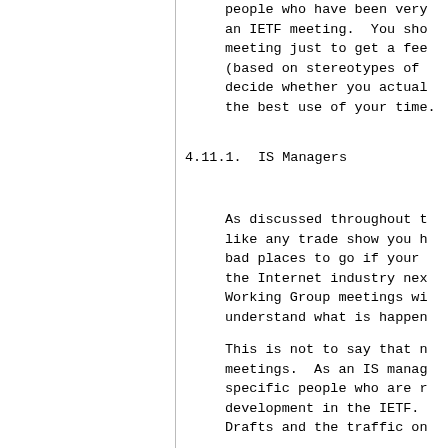people who have been very
an IETF meeting.  You sho
meeting just to get a fee
(based on stereotypes of 
decide whether you actual
the best use of your time
4.11.1.  IS Managers
As discussed throughout t
like any trade show you h
bad places to go if your 
the Internet industry nex
Working Group meetings wi
understand what is happen
This is not to say that n
meetings.  As an IS manag
specific people who are r
development in the IETF.
Drafts and the traffic on